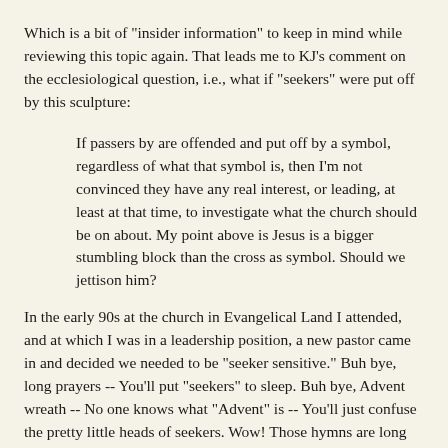Which is a bit of "insider information" to keep in mind while reviewing this topic again. That leads me to KJ's comment on the ecclesiological question, i.e., what if "seekers" were put off by this sculpture:
If passers by are offended and put off by a symbol, regardless of what that symbol is, then I'm not convinced they have any real interest, or leading, at least at that time, to investigate what the church should be on about. My point above is Jesus is a bigger stumbling block than the cross as symbol. Should we jettison him?
In the early 90s at the church in Evangelical Land I attended, and at which I was in a leadership position, a new pastor came in and decided we needed to be "seeker sensitive." Buh bye, long prayers -- You'll put "seekers" to sleep. Buh bye, Advent wreath -- No one knows what "Advent" is -- You'll just confuse the pretty little heads of seekers. Wow! Those hymns are long and boring; they need to go away. We need